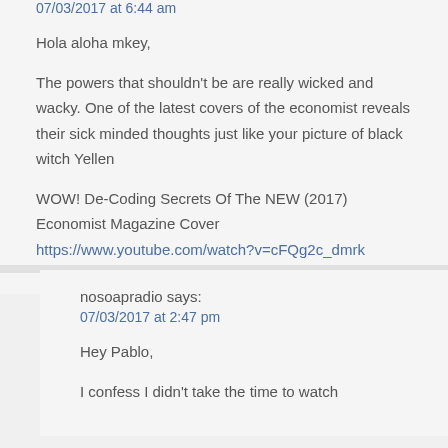07/03/2017 at 6:44 am
Hola aloha mkey,
The powers that shouldn't be are really wicked and wacky. One of the latest covers of the economist reveals their sick minded thoughts just like your picture of black witch Yellen
WOW! De-Coding Secrets Of The NEW (2017) Economist Magazine Cover https://www.youtube.com/watch?v=cFQg2c_dmrk
nosoapradio says:
07/03/2017 at 2:47 pm
Hey Pablo,
I confess I didn't take the time to watch